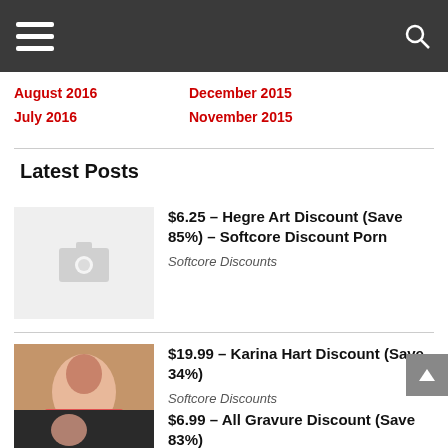Navigation bar with hamburger menu and search icon
August 2016
July 2016
December 2015
November 2015
Latest Posts
$6.25 – Hegre Art Discount (Save 85%) – Softcore Discount Porn
Softcore Discounts
$19.99 – Karina Hart Discount (Save 34%)
Softcore Discounts
$6.99 – All Gravure Discount (Save 83%)
Softcore Discounts